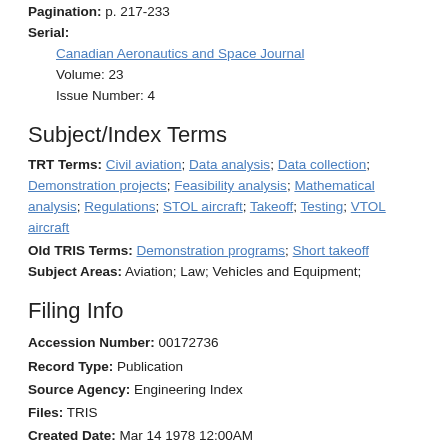Pagination: p. 217-233
Serial:
Canadian Aeronautics and Space Journal
Volume: 23
Issue Number: 4
Subject/Index Terms
TRT Terms: Civil aviation; Data analysis; Data collection; Demonstration projects; Feasibility analysis; Mathematical analysis; Regulations; STOL aircraft; Takeoff; Testing; VTOL aircraft
Old TRIS Terms: Demonstration programs; Short takeoff
Subject Areas: Aviation; Law; Vehicles and Equipment;
Filing Info
Accession Number: 00172736
Record Type: Publication
Source Agency: Engineering Index
Files: TRIS
Created Date: Mar 14 1978 12:00AM